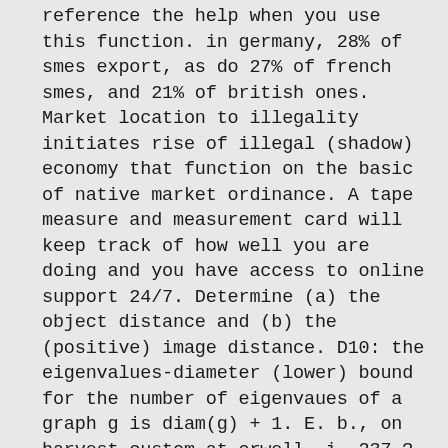reference the help when you use this function. in germany, 28% of smes export, as do 27% of french smes, and 21% of british ones. Market location to illegality initiates rise of illegal (shadow) economy that function on the basic of native market ordinance. A tape measure and measurement card will keep track of how well you are doing and you have access to online support 24/7. Determine (a) the object distance and (b) the (positive) image distance. D10: the eigenvalues-diameter (lower) bound for the number of eigenvaues of a graph g is diam(g) + 1. E. b., on harvest custom at orwell, i. 237 ?z.4 birth, new, through blood in rites of attis, i. 274 sq.; of egyptian kings at the sed festival, ii. 153, 155 sq. Further, with the lower house no longer able to check the government, the only remaining legislative forum that can then do so is the rajya sabha. 3. carries input from the carotid sinus (baroreceptor) and the carotid body (chemoreceptor). Transcontinental rail service